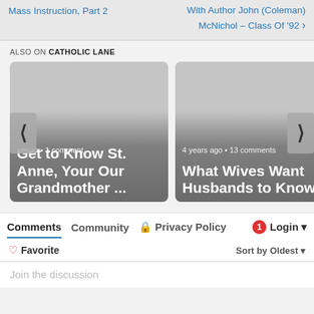Mass Instruction, Part 2 | With Author John (Coleman) McNichol – Class Of '92
ALSO ON CATHOLIC LANE
[Figure (screenshot): Carousel of article cards: 'Get to Know St. Anne, Your Our Grandmother ...' (rs ago • 1 comment) and 'What Wives Want Husbands to Know' (4 years ago • 13 comments), with left and right navigation arrows]
Comments  Community  Privacy Policy  1  Login
Favorite  Sort by Oldest
Join the discussion